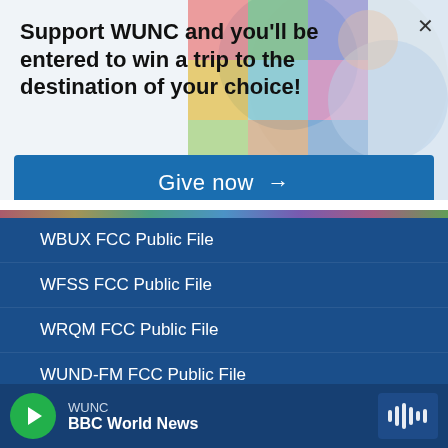Support WUNC and you'll be entered to win a trip to the destination of your choice!
Give now →
WBUX FCC Public File
WFSS FCC Public File
WRQM FCC Public File
WUND-FM FCC Public File
WURI FCC Public File
WUNW FCC Public File
WUNC
BBC World News